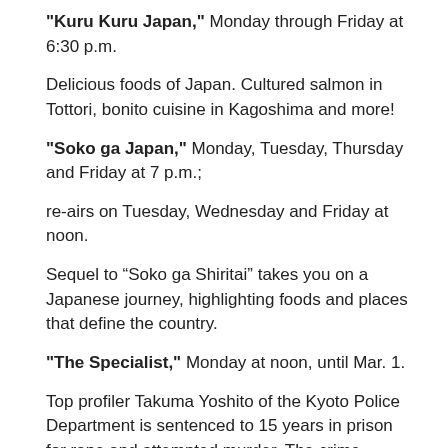"Kuru Kuru Japan," Monday through Friday at 6:30 p.m.
Delicious foods of Japan. Cultured salmon in Tottori, bonito cuisine in Kagoshima and more!
"Soko ga Japan," Monday, Tuesday, Thursday and Friday at 7 p.m.;
re-airs on Tuesday, Wednesday and Friday at noon.
Sequel to “Soko ga Shiritai” takes you on a Japanese journey, highlighting foods and places that define the country.
"The Specialist," Monday at noon, until Mar. 1.
Top profiler Takuma Yoshito of the Kyoto Police Department is sentenced to 15 years in prison for rape and attempted murder. The crime victim wakes from her coma after a